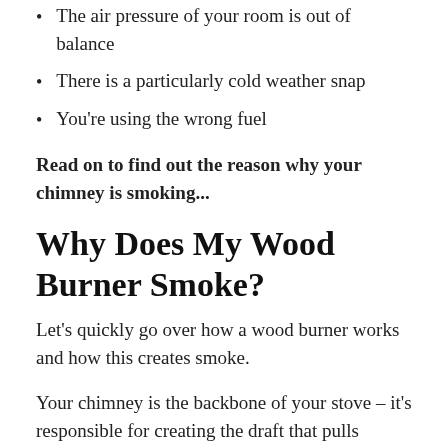A problem with the draw of your chimney
The air pressure of your room is out of balance
There is a particularly cold weather snap
You're using the wrong fuel
Read on to find out the reason why your chimney is smoking...
Why Does My Wood Burner Smoke?
Let's quickly go over how a wood burner works and how this creates smoke.
Your chimney is the backbone of your stove – it's responsible for creating the draft that pulls